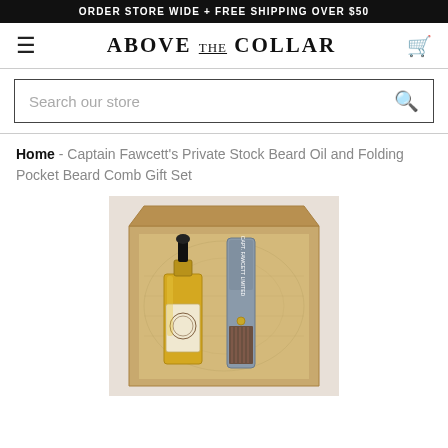ORDER STORE WIDE + FREE SHIPPING OVER $50
[Figure (logo): Above The Collar store logo with hamburger menu and cart icon]
[Figure (screenshot): Search bar with placeholder text 'Search our store' and search icon]
Home - Captain Fawcett's Private Stock Beard Oil and Folding Pocket Beard Comb Gift Set
[Figure (photo): Product photo of Captain Fawcett's gift set showing a beard oil bottle with dropper and folding pocket beard comb inside a cardboard gift box with vintage map lining]